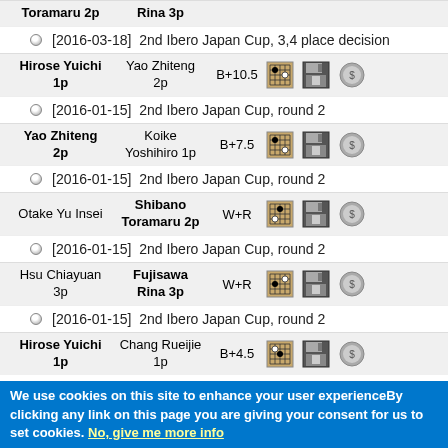Toramaru 2p vs Rina 3p (top truncated row)
[2016-03-18] 2nd Ibero Japan Cup, 3,4 place decision
Hirose Yuichi 1p vs Yao Zhiteng 2p, B+10.5
[2016-01-15] 2nd Ibero Japan Cup, round 2
Yao Zhiteng 2p vs Koike Yoshihiro 1p, B+7.5
[2016-01-15] 2nd Ibero Japan Cup, round 2
Otake Yu Insei vs Shibano Toramaru 2p, W+R
[2016-01-15] 2nd Ibero Japan Cup, round 2
Hsu Chiayuan 3p vs Fujisawa Rina 3p, W+R
[2016-01-15] 2nd Ibero Japan Cup, round 2
Hirose Yuichi 1p vs Chang Rueijie 1p, B+4.5
We use cookies on this site to enhance your user experienceBy clicking any link on this page you are giving your consent for us to set cookies. No, give me more info